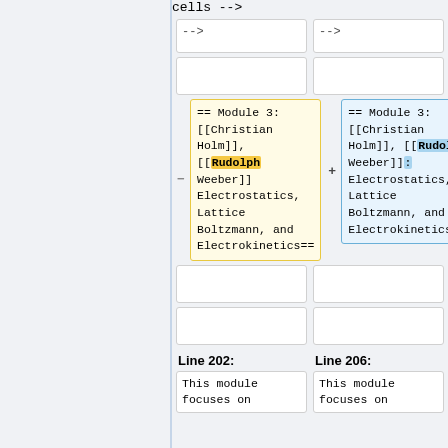-->
-->
== Module 3: [[Christian Holm]], [[Rudolph Weeber]] Electrostatics, Lattice Boltzmann, and Electrokinetics==
== Module 3: [[Christian Holm]], [[Rudolf Weeber]]: Electrostatics, Lattice Boltzmann, and Electrokinetics==
Line 202:
Line 206:
This module focuses on
This module focuses on